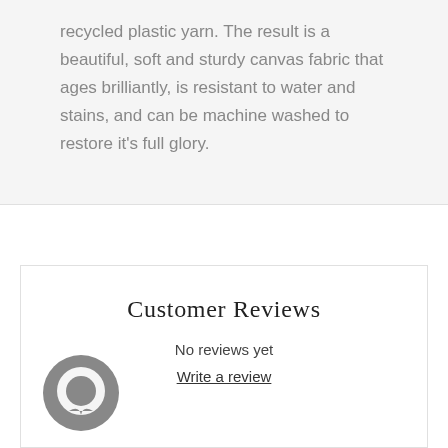recycled plastic yarn. The result is a beautiful, soft and sturdy canvas fabric that ages brilliantly, is resistant to water and stains, and can be machine washed to restore it's full glory.
Customer Reviews
No reviews yet
Write a review